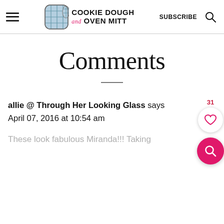Cookie Dough and Oven Mitt | SUBSCRIBE | Search
Comments
allie @ Through Her Looking Glass says
April 07, 2016 at 10:54 am
These look fabulous Miranda!!! Taking